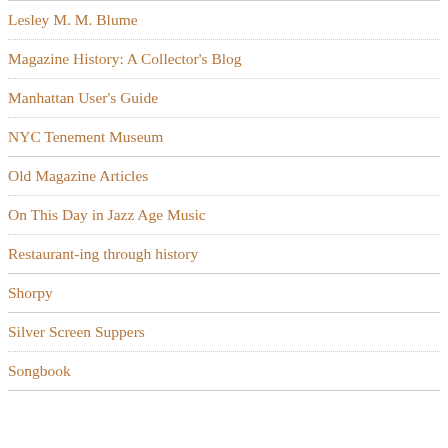Lesley M. M. Blume
Magazine History: A Collector's Blog
Manhattan User's Guide
NYC Tenement Museum
Old Magazine Articles
On This Day in Jazz Age Music
Restaurant-ing through history
Shorpy
Silver Screen Suppers
Songbook